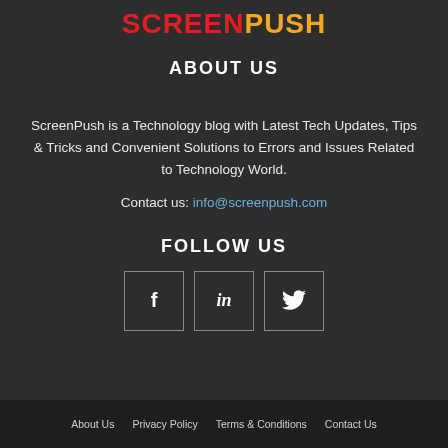SCREENPUSH
ABOUT US
ScreenPush is a Technology blog with Latest Tech Updates, Tips & Tricks and Convenient Solutions to Errors and Issues Related to Technology World.
Contact us: info@screenpush.com
FOLLOW US
[Figure (other): Three social media icon buttons: Facebook (f), LinkedIn (in), Twitter (bird icon)]
About Us   Privacy Policy   Terms & Conditions   Contact Us